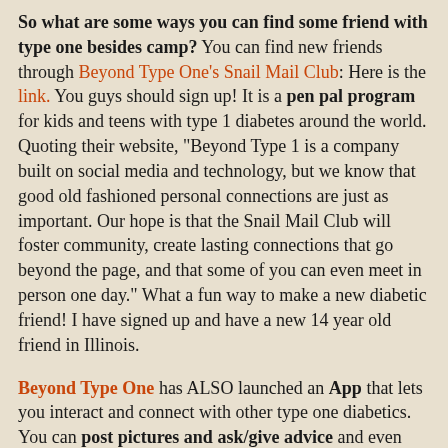So what are some ways you can find some friend with type one besides camp? You can find new friends through Beyond Type One's Snail Mail Club: Here is the link. You guys should sign up! It is a pen pal program for kids and teens with type 1 diabetes around the world. Quoting their website, "Beyond Type 1 is a company built on social media and technology, but we know that good old fashioned personal connections are just as important. Our hope is that the Snail Mail Club will foster community, create lasting connections that go beyond the page, and that some of you can even meet in person one day." What a fun way to make a new diabetic friend! I have signed up and have a new 14 year old friend in Illinois.
Beyond Type One has ALSO launched an App that lets you interact and connect with other type one diabetics. You can post pictures and ask/give advice and even find people in your area! I am on it and I LOVE it! Click this LINK and sign up on the website. Then it will let you download the free app